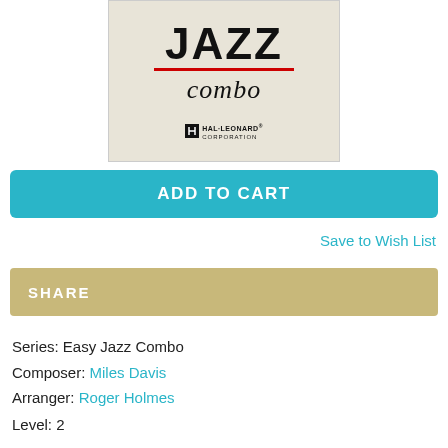[Figure (photo): Book cover for Easy Jazz Combo series, showing JAZZ in large bold letters with a red underline, 'combo' in cursive script below, and Hal Leonard Corporation logo at the bottom, on a beige/cream textured background.]
ADD TO CART
Save to Wish List
SHARE
Series: Easy Jazz Combo
Composer: Miles Davis
Arranger: Roger Holmes
Level: 2